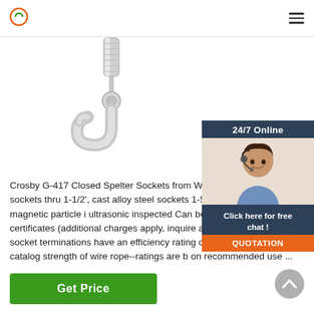[Figure (photo): Crosby G-417 Closed Spelter Socket product photo showing a hook and barrel turnbuckle piece, metallic gray color.]
[Figure (photo): 24/7 Online chat widget with a female customer service agent wearing a headset, smiling. Includes 'Click here for free chat!' text and an orange QUOTATION button.]
Crosby G-417 Closed Spelter Sockets from Weste Forged steel sockets thru 1-1/2', cast alloy steel sockets 1-5/8' and larger are magnetic particle i ultrasonic inspected Can be furnished proof-tes certificates (additional charges apply, inquire at time of order) Spelter socket terminations have an efficiency rating of 100% based on the catalog strength of wire rope--ratings are b on recommended use ...
Get Price